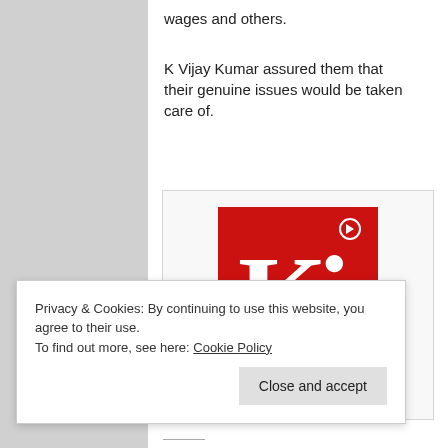wages and others.
K Vijay Kumar assured them that their genuine issues would be taken care of.
[Figure (logo): Kashmir Images (KI) logo — red square background with large white K and i letters and a small circular icon at top right, with 'Kashmir Images' text at the bottom]
Images News Netwok
Privacy & Cookies: By continuing to use this website, you agree to their use.
To find out more, see here: Cookie Policy
Close and accept